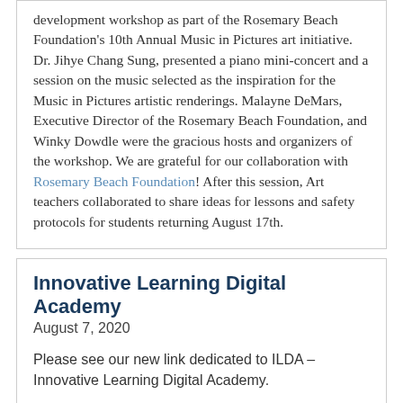development workshop as part of the Rosemary Beach Foundation's 10th Annual Music in Pictures art initiative. Dr. Jihye Chang Sung, presented a piano mini-concert and a session on the music selected as the inspiration for the Music in Pictures artistic renderings. Malayne DeMars, Executive Director of the Rosemary Beach Foundation, and Winky Dowdle were the gracious hosts and organizers of the workshop. We are grateful for our collaboration with Rosemary Beach Foundation! After this session, Art teachers collaborated to share ideas for lessons and safety protocols for students returning August 17th.
Innovative Learning Digital Academy
August 7, 2020
Please see our new link dedicated to ILDA – Innovative Learning Digital Academy.
https://www.walton.k12.fl.us/Innovative-Learning-